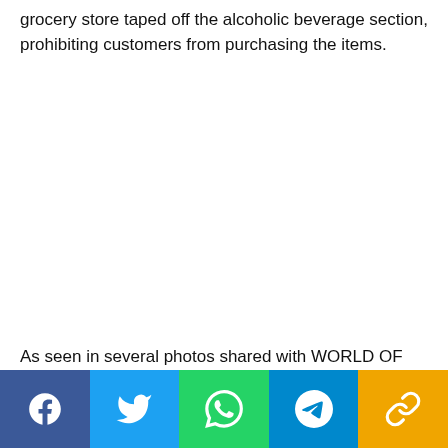grocery store taped off the alcoholic beverage section, prohibiting customers from purchasing the items.
As seen in several photos shared with WORLD OF
[Figure (infographic): Social media share bar with Facebook, Twitter, WhatsApp, Telegram, and copy-link buttons in their respective brand colors]